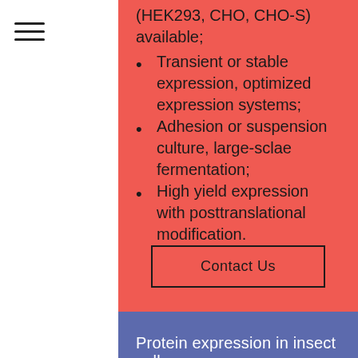(HEK293, CHO, CHO-S) available;
Transient or stable expression, optimized expression systems;
Adhesion or suspension culture, large-sclae fermentation;
High yield expression with posttranslational modification.
Contact Us
Protein expression in insect cells
Multiple insect cell lines